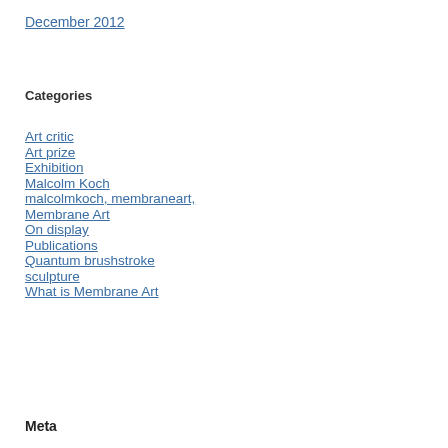December 2012
Categories
Art critic
Art prize
Exhibition
Malcolm Koch
malcolmkoch, membraneart,
Membrane Art
On display
Publications
Quantum brushstroke
sculpture
What is Membrane Art
Meta